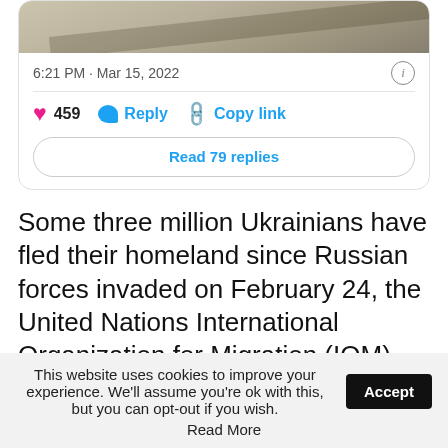[Figure (screenshot): Partial Twitter/social media post card showing a photo at top, timestamp 6:21 PM · Mar 15, 2022, like count 459, Reply and Copy link buttons, and a Read 79 replies button]
6:21 PM · Mar 15, 2022
459   Reply   Copy link
Read 79 replies
Some three million Ukrainians have fled their homeland since Russian forces invaded on February 24, the United Nations International Organization for Migration (IOM) said.
They include 1.8 million Ukrainians now in Poland, the UN refugee agency said, with
This website uses cookies to improve your experience. We'll assume you're ok with this, but you can opt-out if you wish.   Accept
Read More